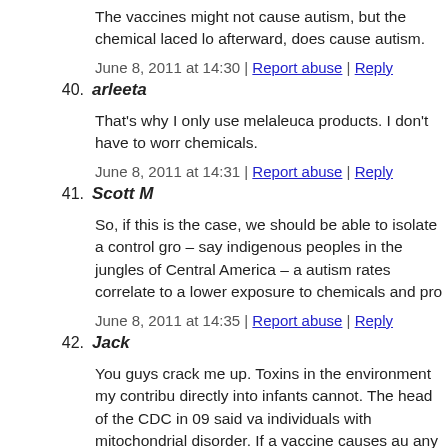The vaccines might not cause autism, but the chemical laced lo afterward, does cause autism.
June 8, 2011 at 14:30 | Report abuse | Reply
40. arleeta
That's why I only use melaleuca products. I don't have to worr chemicals.
June 8, 2011 at 14:31 | Report abuse | Reply
41. Scott M
So, if this is the case, we should be able to isolate a control gro – say indigenous peoples in the jungles of Central America – a autism rates correlate to a lower exposure to chemicals and pro
June 8, 2011 at 14:35 | Report abuse | Reply
42. Jack
You guys crack me up. Toxins in the environment my contribu directly into infants cannot. The head of the CDC in 09 said va individuals with mitochondrial disorder. If a vaccine causes au any reason, genetic or otherwise, it can do so in others. So in th epidemic of mitochndrial disorder? I was vaccinated and my k problems, we just got lucky.